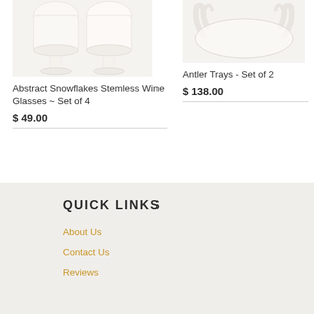[Figure (photo): Product image of Abstract Snowflakes Stemless Wine Glasses Set of 4 - showing white/cream stemless wine glasses]
Abstract Snowflakes Stemless Wine Glasses ~ Set of 4
$ 49.00
[Figure (photo): Product image of Antler Trays Set of 2 - showing decorative antler-shaped white trays]
Antler Trays - Set of 2
$ 138.00
QUICK LINKS
About Us
Contact Us
Reviews